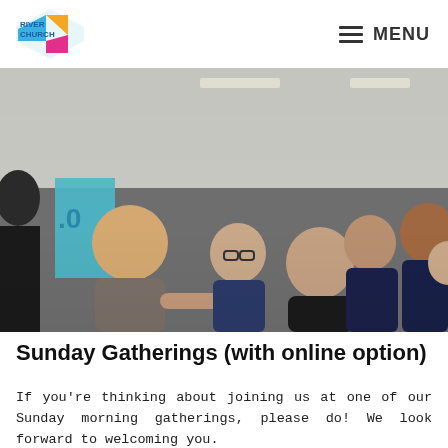RIVER CHURCH | MENU
[Figure (photo): Group of people socializing indoors at a church gathering. Several adults are shown talking and smiling in a bright room.]
Sunday Gatherings (with online option)
If you're thinking about joining us at one of our Sunday morning gatherings, please do! We look forward to welcoming you.